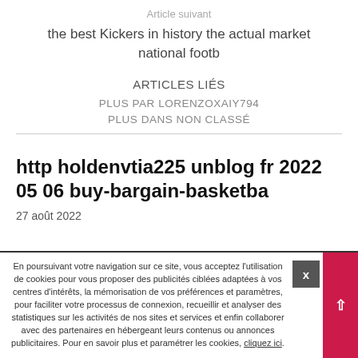Article suivant
the best Kickers in history the actual market national footb
ARTICLES LIÉS
PLUS PAR LORENZOXAIY794
PLUS DANS NON CLASSÉ
http holdenvtia225 unblog fr 2022 05 06 buy-bargain-basketba
27 août 2022
En poursuivant votre navigation sur ce site, vous acceptez l'utilisation de cookies pour vous proposer des publicités ciblées adaptées à vos centres d'intérêts, la mémorisation de vos préférences et paramètres, pour faciliter votre processus de connexion, recueillir et analyser des statistiques sur les activités de nos sites et services et enfin collaborer avec des partenaires en hébergeant leurs contenus ou annonces publicitaires. Pour en savoir plus et paramétrer les cookies, cliquez ici.